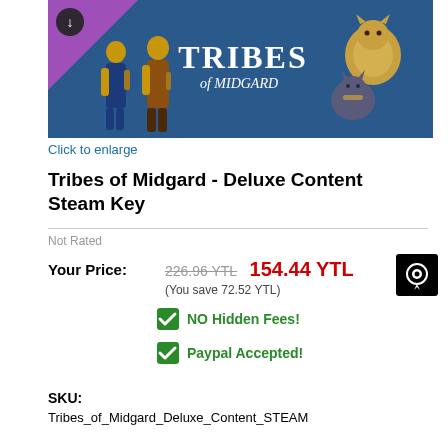[Figure (photo): Tribes of Midgard - Deluxe Content game promotional banner with two armored warriors and fantasy animal creatures on a blue background, with a download icon badge in the top left corner]
Click to enlarge
Tribes of Midgard - Deluxe Content Steam Key
Not Rated
Your Price: 226.96 YTL 154.44 YTL (You save 72.52 YTL)
NO Hidden Fees!
Paypal Accepted!
SKU:
Tribes_of_Midgard_Deluxe_Content_STEAM